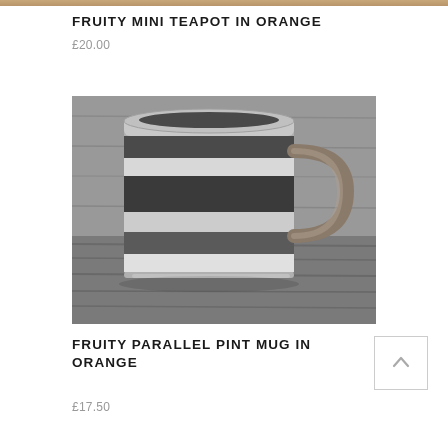[Figure (photo): Partial top strip of a product image showing warm wooden/orange tones]
FRUITY MINI TEAPOT IN ORANGE
£20.00
[Figure (photo): Black and white photograph of a striped ceramic pint mug with a handle, sitting on a wooden surface]
FRUITY PARALLEL PINT MUG IN ORANGE
£17.50